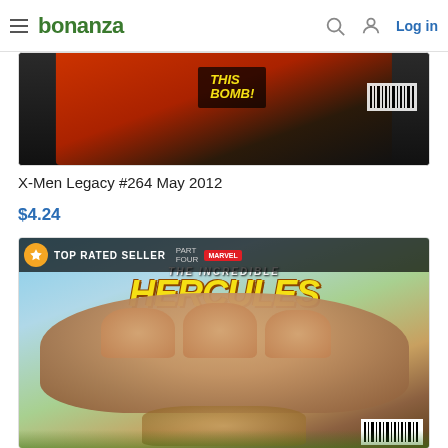bonanza | Log in
[Figure (photo): Partial product image showing X-Men Legacy comic book cover]
X-Men Legacy #264 May 2012
$4.24
[Figure (photo): The Incredible Hercules 2009 Marvel comic book cover with TOP RATED SELLER badge, showing Hercules being grabbed by a giant hand]
(CB-3) 2009 Marvel Comic Book: The